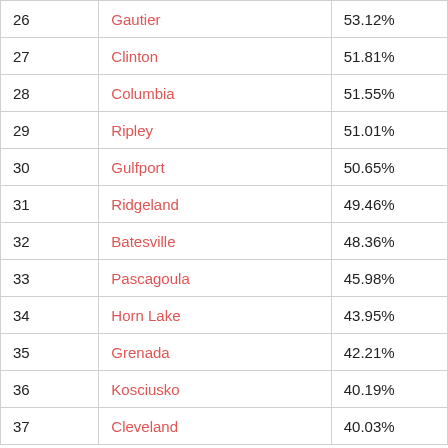| 26 | Gautier | 53.12% |
| 27 | Clinton | 51.81% |
| 28 | Columbia | 51.55% |
| 29 | Ripley | 51.01% |
| 30 | Gulfport | 50.65% |
| 31 | Ridgeland | 49.46% |
| 32 | Batesville | 48.36% |
| 33 | Pascagoula | 45.98% |
| 34 | Horn Lake | 43.95% |
| 35 | Grenada | 42.21% |
| 36 | Kosciusko | 40.19% |
| 37 | Cleveland | 40.03% |